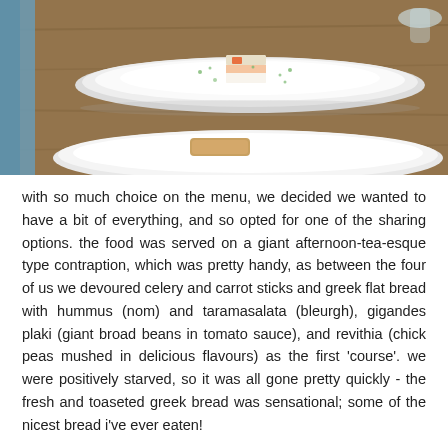[Figure (photo): Close-up photo of white ceramic plates on a wooden table. The top plate has a small square serving of food (appears to be a layered dish with herbs/garnish on top) on a white plate. Below it is another white plate partially visible. Blue chair or furniture visible on the left edge.]
with so much choice on the menu, we decided we wanted to have a bit of everything, and so opted for one of the sharing options. the food was served on a giant afternoon-tea-esque type contraption, which was pretty handy, as between the four of us we devoured celery and carrot sticks and greek flat bread with hummus (nom) and taramasalata (bleurgh), gigandes plaki (giant broad beans in tomato sauce), and revithia (chick peas mushed in delicious flavours) as the first 'course'. we were positively starved, so it was all gone pretty quickly - the fresh and toaseted greek bread was sensational; some of the nicest bread i've ever eaten!
we washed all that down with some of the restaurant's best pink wine, before another tier of finger food was served to